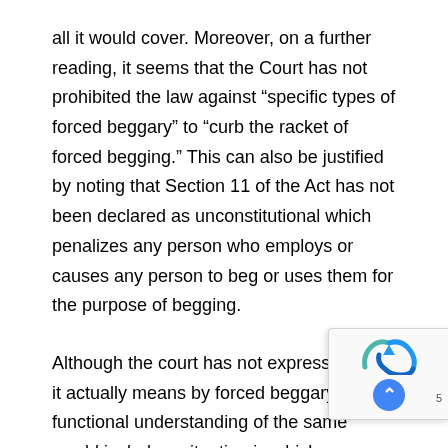all it would cover. Moreover, on a further reading, it seems that the Court has not prohibited the law against “specific types of forced beggary” to “curb the racket of forced begging.” This can also be justified by noting that Section 11 of the Act has not been declared as unconstitutional which penalizes any person who employs or causes any person to beg or uses them for the purpose of begging.
Although the court has not expressed what it actually means by forced beggary, a functional understanding of the same would include a situation in which someone is forced to beg. One major feature of this involuntary nature of the act is the use of external force to subjugate someone to beg. Although not explicitly stated so by the Court, another situation which can be covered with...